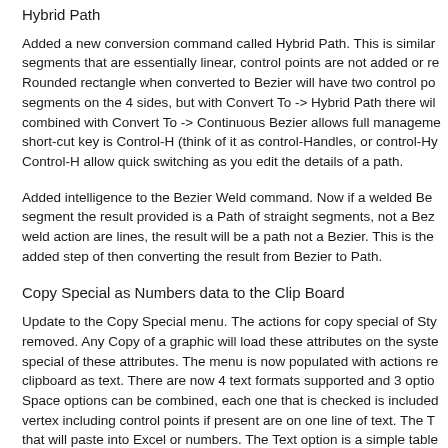Hybrid Path
Added a new conversion command called Hybrid Path. This is similar to segments that are essentially linear, control points are not added or re Rounded rectangle when converted to Bezier will have two control po segments on the 4 sides, but with Convert To -> Hybrid Path there wil combined with Convert To -> Continuous Bezier allows full manageme short-cut key is Control-H (think of it as control-Handles, or control-Hy Control-H allow quick switching as you edit the details of a path.
Added intelligence to the Bezier Weld command. Now if a welded Be segment the result provided is a Path of straight segments, not a Bez weld action are lines, the result will be a path not a Bezier. This is the added step of then converting the result from Bezier to Path.
Copy Special as Numbers data to the Clip Board
Update to the Copy Special menu. The actions for copy special of Sty removed. Any Copy of a graphic will load these attributes on the syste special of these attributes. The menu is now populated with actions re clipboard as text. There are now 4 text formats supported and 3 optio Space options can be combined, each one that is checked is included vertex including control points if present are on one line of text. The T that will paste into Excel or numbers. The Text option is a simple table numbers. Interpolation outputs only points on the curve, so no control in accordance with accepted SVG path formatting. The values are in numeric display settings for the Graphic Details drawer. Consult the H
SVG (and Canvas migration)